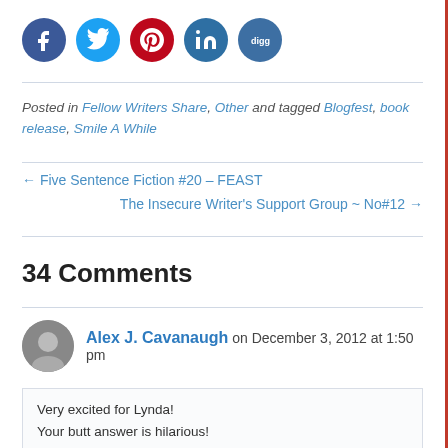[Figure (infographic): Social sharing icons: Facebook (dark blue circle), Twitter (light blue circle), Pinterest (red circle), LinkedIn (steel blue circle), Digg (steel blue circle with 'digg' text)]
Posted in Fellow Writers Share, Other and tagged Blogfest, book release, Smile A While
← Five Sentence Fiction #20 – FEAST
The Insecure Writer's Support Group ~ No#12 →
34 Comments
Alex J. Cavanaugh on December 3, 2012 at 1:50 pm
Very excited for Lynda!
Your butt answer is hilarious!